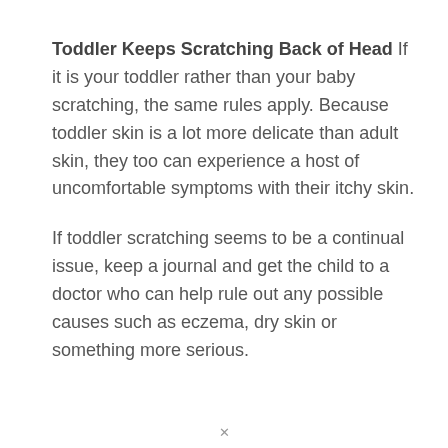Toddler Keeps Scratching Back of Head
If it is your toddler rather than your baby scratching, the same rules apply. Because toddler skin is a lot more delicate than adult skin, they too can experience a host of uncomfortable symptoms with their itchy skin.
If toddler scratching seems to be a continual issue, keep a journal and get the child to a doctor who can help rule out any possible causes such as eczema, dry skin or something more serious.